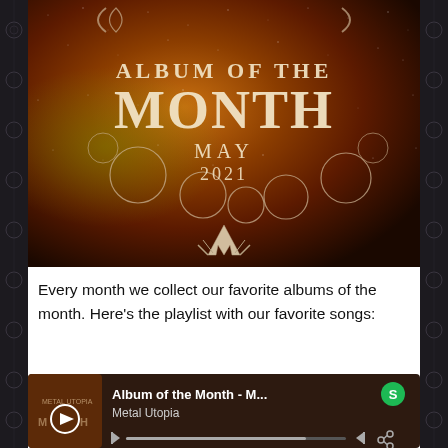[Figure (illustration): Album of the Month May 2021 banner image with dark reddish-brown nebula background, moon phase circles, and stylized logo at bottom center]
Every month we collect our favorite albums of the month. Here's the playlist with our favorite songs:
[Figure (screenshot): Spotify player embed showing 'Album of the Month - M...' by Metal Utopia with play button, progress bar, skip controls, and Spotify logo]